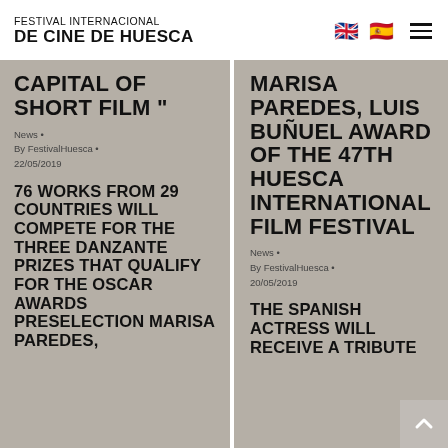FESTIVAL INTERNACIONAL DE CINE DE HUESCA
CAPITAL OF SHORT FILM "
News • By FestivalHuesca • 22/05/2019
76 WORKS FROM 29 COUNTRIES WILL COMPETE FOR THE THREE DANZANTE PRIZES THAT QUALIFY FOR THE OSCAR AWARDS PRESELECTION MARISA PAREDES,
MARISA PAREDES, LUIS BUÑUEL AWARD OF THE 47TH HUESCA INTERNATIONAL FILM FESTIVAL
News • By FestivalHuesca • 20/05/2019
THE SPANISH ACTRESS WILL RECEIVE A TRIBUTE